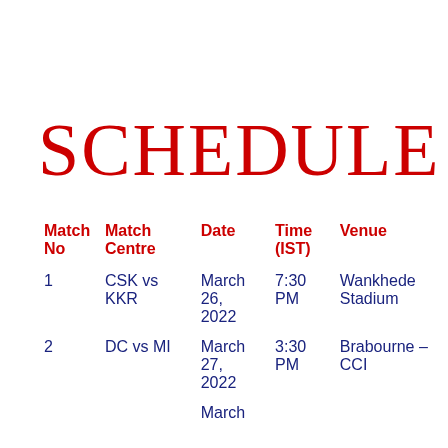SCHEDULE
| Match No | Match Centre | Date | Time (IST) | Venue |
| --- | --- | --- | --- | --- |
| 1 | CSK vs KKR | March 26, 2022 | 7:30 PM | Wankhede Stadium |
| 2 | DC vs MI | March 27, 2022 | 3:30 PM | Brabourne – CCI |
|  |  | March |  |  |